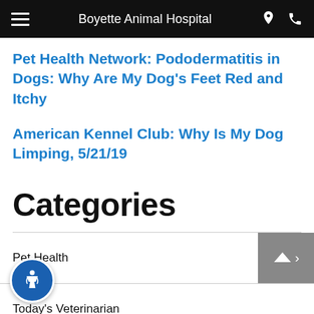Boyette Animal Hospital
Pet Health Network: Pododermatitis in Dogs: Why Are My Dog's Feet Red and Itchy
American Kennel Club: Why Is My Dog Limping, 5/21/19
Categories
Pet Health
Today's Veterinarian
Choosing Your Pet